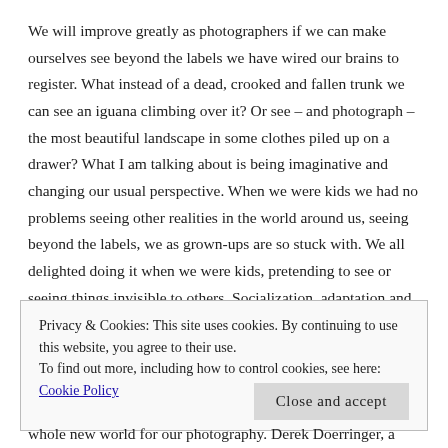We will improve greatly as photographers if we can make ourselves see beyond the labels we have wired our brains to register. What instead of a dead, crooked and fallen trunk we can see an iguana climbing over it? Or see – and photograph – the most beautiful landscape in some clothes piled up on a drawer? What I am talking about is being imaginative and changing our usual perspective. When we were kids we had no problems seeing other realities in the world around us, seeing beyond the labels, we as grown-ups are so stuck with. We all delighted doing it when we were kids, pretending to see or seeing things invisible to others. Socialization, adaptation and
Privacy & Cookies: This site uses cookies. By continuing to use this website, you agree to their use.
To find out more, including how to control cookies, see here:
Cookie Policy
[Close and accept]
whole new world for our photography. Derek Doerringer, a